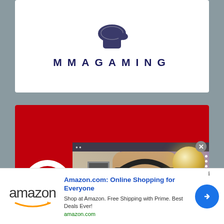[Figure (logo): MMAGAMING logo with glove icon and bold spaced text]
[Figure (screenshot): Red background card with magnifier icon and embedded video showing Brandon Lewis with headphones. Ad overlay at bottom for Amazon.com.]
Brandon Lewis talks upcomin...
Amazon.com: Online Shopping for Everyone
Shop at Amazon. Free Shipping with Prime. Best Deals Ever!
amazon.com